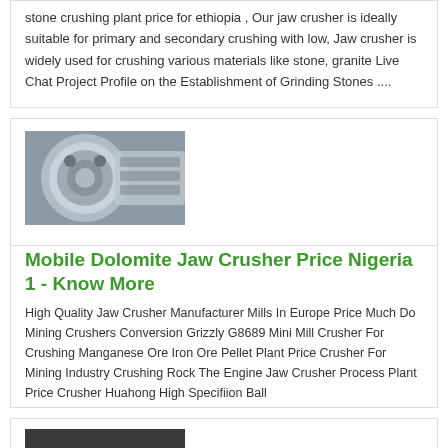stone crushing plant price for ethiopia , Our jaw crusher is ideally suitable for primary and secondary crushing with low, Jaw crusher is widely used for crushing various materials like stone, granite Live Chat Project Profile on the Establishment of Grinding Stones ....
[Figure (photo): Close-up photo of industrial crusher/mill machinery parts, metallic cylindrical components]
Mobile Dolomite Jaw Crusher Price Nigeria 1 - Know More
High Quality Jaw Crusher Manufacturer Mills In Europe Price Much Do Mining Crushers Conversion Grizzly G8689 Mini Mill Crusher For Crushing Manganese Ore Iron Ore Pellet Plant Price Crusher For Mining Industry Crushing Rock The Engine Jaw Crusher Process Plant Price Crusher Huahong High Specifiion Ball
[Figure (photo): Photo of industrial welding or machinery work in a factory setting with blue sparks]